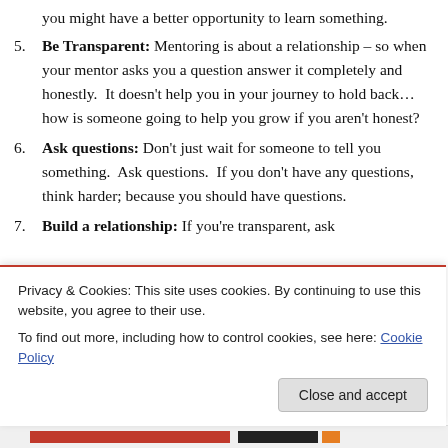you might have a better opportunity to learn something.
Be Transparent: Mentoring is about a relationship – so when your mentor asks you a question answer it completely and honestly.  It doesn't help you in your journey to hold back…how is someone going to help you grow if you aren't honest?
Ask questions: Don't just wait for someone to tell you something.  Ask questions.  If you don't have any questions, think harder; because you should have questions.
Build a relationship: If you're transparent, ask
Privacy & Cookies: This site uses cookies. By continuing to use this website, you agree to their use.
To find out more, including how to control cookies, see here: Cookie Policy
Close and accept